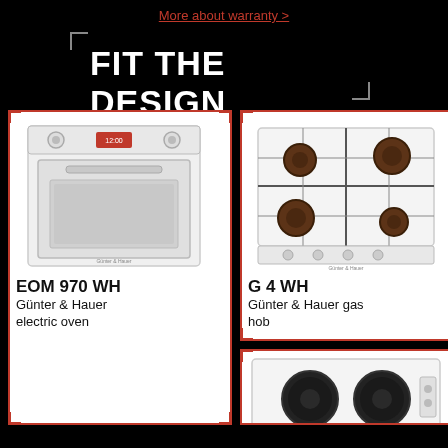More about warranty >
FIT THE DESIGN
[Figure (photo): White built-in electric oven (EOM 970 WH) with control knobs and digital display]
EOM 970 WH
Günter & Hauer electric oven
[Figure (photo): White gas hob (G 4 WH) with 4 burners and black grates]
G 4 WH
Günter & Hauer gas hob
[Figure (photo): White electric hob with 2 circular burner plates, partially visible]